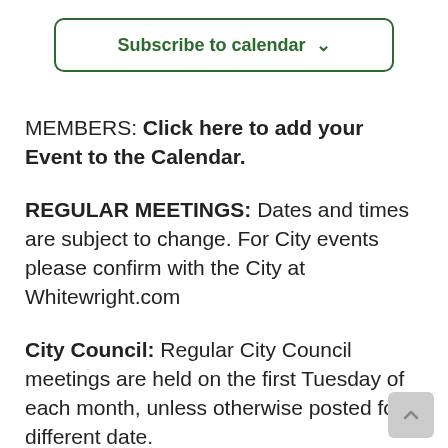Subscribe to calendar ⌄
MEMBERS: Click here to add your Event to the Calendar.
REGULAR MEETINGS: Dates and times are subject to change. For City events please confirm with the City at Whitewright.com
City Council: Regular City Council meetings are held on the first Tuesday of each month, unless otherwise posted for a different date.
LOCATION: Whitewright Visitor Center Meeting Room
ADDRESS: 111 W Grand, Whitewright, TX